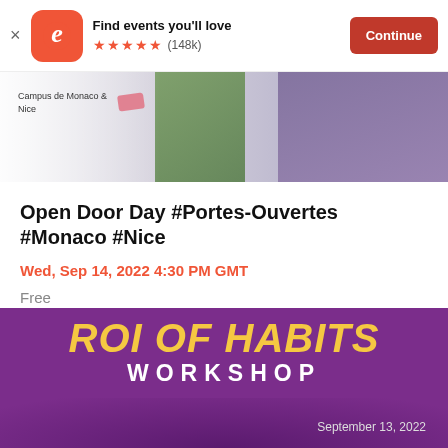[Figure (screenshot): Eventbrite app banner with orange logo, 'Find events you'll love', 5 stars (148k), and Continue button]
[Figure (photo): Event banner image for Open Door Day showing Campus de Monaco & Nice label with plant and person in background]
Open Door Day #Portes-Ouvertes #Monaco #Nice
Wed, Sep 14, 2022 4:30 PM GMT
Free
[Figure (illustration): ROI of Habits Workshop promotional banner with yellow and white text on purple background, September 13, 2022]